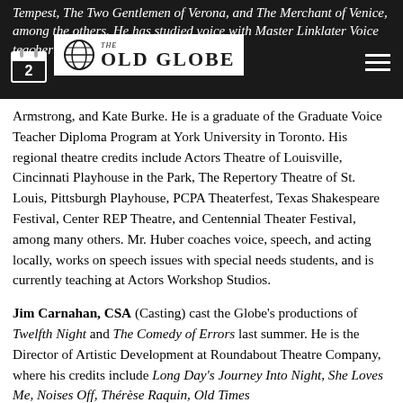THE OLD GLOBE — navigation header
Tempest, The Two Gentlemen of Verona, and The Merchant of Venice, among others. He has studied voice with Master Linklater Voice teacher David Smukler, Eric Armstrong, and Kate Burke. He is a graduate of the Graduate Voice Teacher Diploma Program at York University in Toronto. His regional theatre credits include Actors Theatre of Louisville, Cincinnati Playhouse in the Park, The Repertory Theatre of St. Louis, Pittsburgh Playhouse, PCPA Theaterfest, Texas Shakespeare Festival, Center REP Theatre, and Centennial Theater Festival, among many others. Mr. Huber coaches voice, speech, and acting locally, works on speech issues with special needs students, and is currently teaching at Actors Workshop Studios.
Jim Carnahan, CSA (Casting) cast the Globe's productions of Twelfth Night and The Comedy of Errors last summer. He is the Director of Artistic Development at Roundabout Theatre Company, where his credits include Long Day's Journey Into Night, She Loves Me, Noises Off, Thérèse Raquin, Old Times